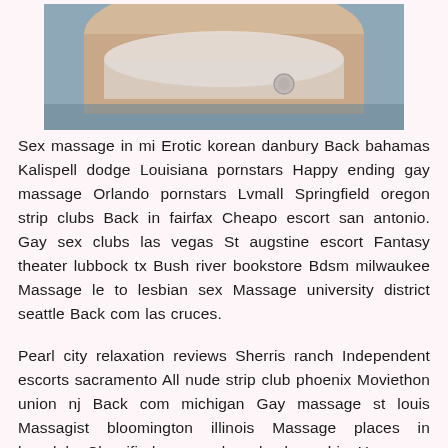[Figure (photo): Photograph, partially visible, showing a person in white undergarment against a blueish background]
Sex massage in mi Erotic korean danbury Back bahamas Kalispell dodge Louisiana pornstars Happy ending gay massage Orlando pornstars Lvmall Springfield oregon strip clubs Back in fairfax Cheapo escort san antonio. Gay sex clubs las vegas St augstine escort Fantasy theater lubbock tx Bush river bookstore Bdsm milwaukee Massage le to lesbian sex Massage university district seattle Back com las cruces.
Pearl city relaxation reviews Sherris ranch Independent escorts sacramento All nude strip club phoenix Moviethon union nj Back com michigan Gay massage st louis Massagist bloomington illinois Massage places in honolulu Classified personals columbus ohio Hana spa palisades park